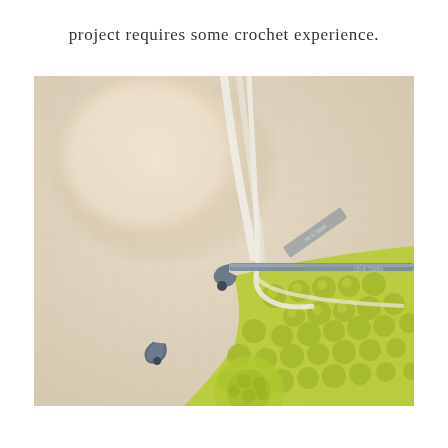project requires some crochet experience.
[Figure (photo): Close-up photograph of a crochet hook being used on a lime green crochet project. A ball of cream/white yarn is visible in the background, blurred. The crochet hook is metallic/silver and is inserted into lime green crochet stitches. A strand of white yarn runs through the hook. The surface appears to be a light beige/cream fabric background.]